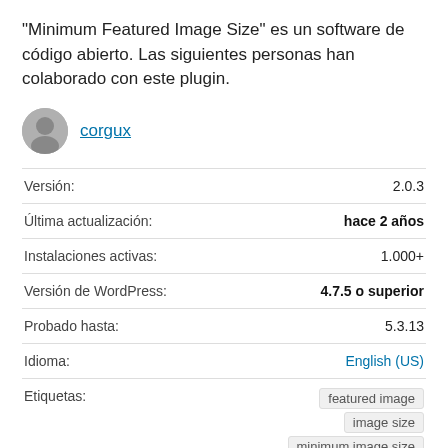“Minimum Featured Image Size” es un software de código abierto. Las siguientes personas han colaborado con este plugin.
corgux
| Label | Value |
| --- | --- |
| Versión: | 2.0.3 |
| Última actualización: | hace 2 años |
| Instalaciones activas: | 1.000+ |
| Versión de WordPress: | 4.7.5 o superior |
| Probado hasta: | 5.3.13 |
| Idioma: | English (US) |
| Etiquetas: | featured image  image size  minimum image size |